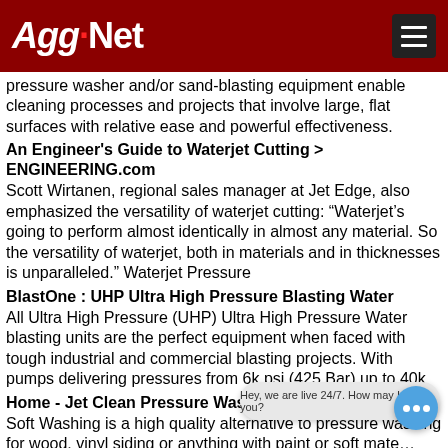Agg-Net
pressure washer and/or sand-blasting equipment enable cleaning processes and projects that involve large, flat surfaces with relative ease and powerful effectiveness.
An Engineer's Guide to Waterjet Cutting > ENGINEERING.com
Scott Wirtanen, regional sales manager at Jet Edge, also emphasized the versatility of waterjet cutting: “Waterjet’s going to perform almost identically in almost any material. So the versatility of waterjet, both in materials and in thicknesses is unparalleled.” Waterjet Pressure
BlastOne : UHP Ultra High Pressure Blasting Water
All Ultra High Pressure (UHP) Ultra High Pressure Water blasting units are the perfect equipment when faced with tough industrial and commercial blasting projects. With pumps delivering pressures from 6k psi (425 Bar) up to 40k
Home - Jet Clean Pressure Washing
Soft Washing is a high quality alternative to pressure washing for wood, vinyl siding or anything with paint or soft mate... Having high pressure... b sometimes the material requires a softer touch. Instead o... ir with highly efficient d...